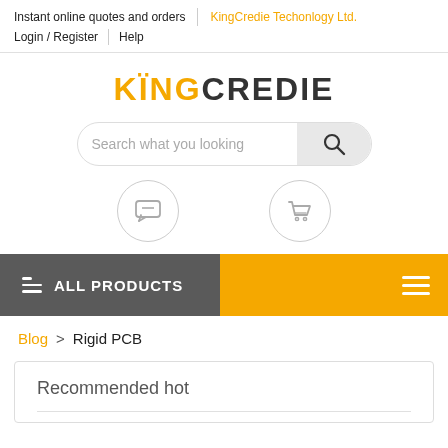Instant online quotes and orders | KingCredie Techonlogy Ltd.
Login / Register | Help
KINGCREDIE
Search what you looking
[Figure (screenshot): Message/chat icon in a circle]
[Figure (screenshot): Shopping cart icon in a circle]
ALL PRODUCTS
Blog > Rigid PCB
Recommended hot